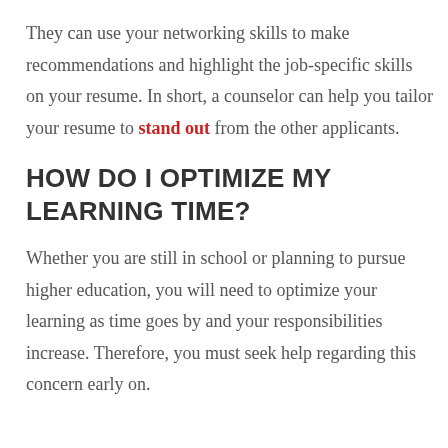They can use your networking skills to make recommendations and highlight the job-specific skills on your resume. In short, a counselor can help you tailor your resume to stand out from the other applicants.
HOW DO I OPTIMIZE MY LEARNING TIME?
Whether you are still in school or planning to pursue higher education, you will need to optimize your learning as time goes by and your responsibilities increase. Therefore, you must seek help regarding this concern early on.